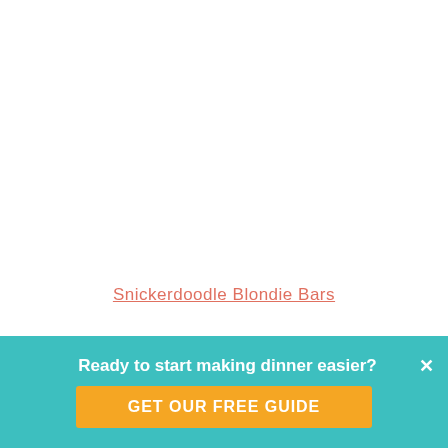Snickerdoodle Blondie Bars
Ready to start making dinner easier?
GET OUR FREE GUIDE